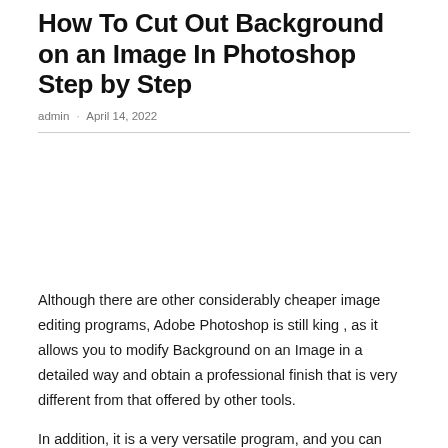How To Cut Out Background on an Image In Photoshop Step by Step
admin · April 14, 2022
Although there are other considerably cheaper image editing programs, Adobe Photoshop is still king , as it allows you to modify Background on an Image in a detailed way and obtain a professional finish that is very different from that offered by other tools.
In addition, it is a very versatile program, and you can combine the results you get with other tools in